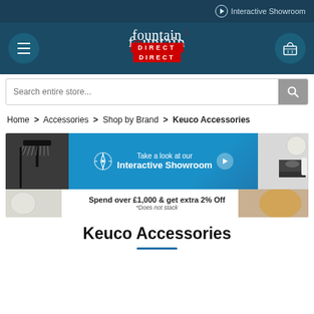Interactive Showroom
[Figure (logo): Fountain Direct logo with red bar containing DIRECT text]
Search entire store...
Home > Accessories > Shop by Brand > Keuco Accessories
[Figure (infographic): Interactive Showroom promotional banner with shower image and bathroom image]
[Figure (infographic): Spend over £1,000 & get extra 2% Off promotional banner. *Does not stack]
Keuco Accessories